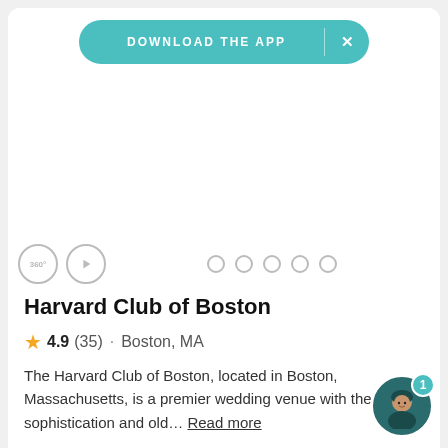DOWNLOAD THE APP  X
[Figure (screenshot): Blank white image area for venue photo carousel with 360 and play icons on left and dot indicators in center]
Harvard Club of Boston
4.9 (35) · Boston, MA
The Harvard Club of Boston, located in Boston, Massachusetts, is a premier wedding venue with the sophistication and old... Read more